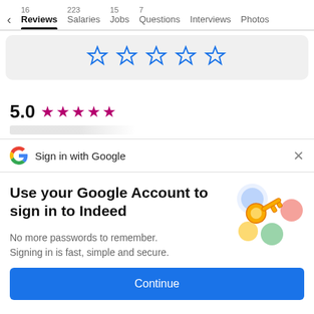< 16 Reviews | 223 Salaries | 15 Jobs | 7 Questions | Interviews | Photos
[Figure (screenshot): Five blue outlined star icons for rating]
5.0 ★★★★★
Sign in with Google ×
Use your Google Account to sign in to Indeed
No more passwords to remember. Signing in is fast, simple and secure.
[Figure (illustration): Colorful illustration of a key with Google account icons]
Continue